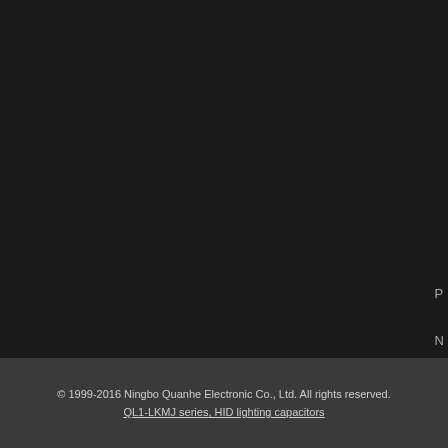P
N
© 1999-2016 Ningbo Quanhe Electronic Co., Ltd. All rights reserved.
QL1-LKMJ series, HID lighting capacitors